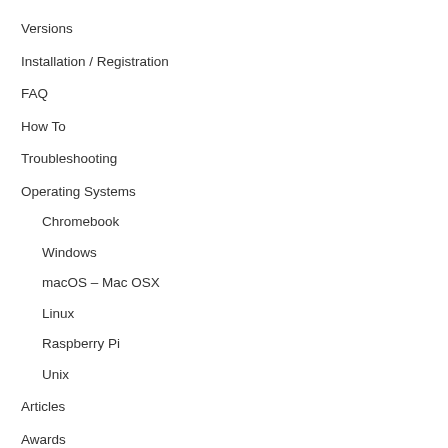Versions
Installation / Registration
FAQ
How To
Troubleshooting
Operating Systems
Chromebook
Windows
macOS – Mac OSX
Linux
Raspberry Pi
Unix
Articles
Awards
Annotating PDFs